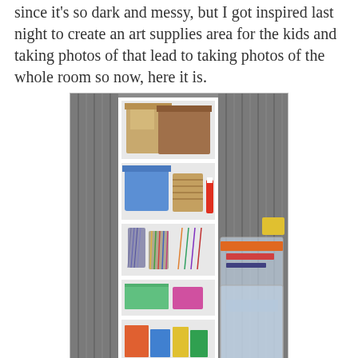since it's so dark and messy, but I got inspired last night to create an art supplies area for the kids and taking photos of that lead to taking photos of the whole room so now, here it is.
[Figure (photo): A white shelving unit filled with art supplies including boxes, a blue bin, wicker basket, colored pencils, paper, and various craft items. To the right are clear plastic storage bins. The background shows a corrugated metal wall.]
Art supplies shelves.
There's nothing original or exciting about our art supplies